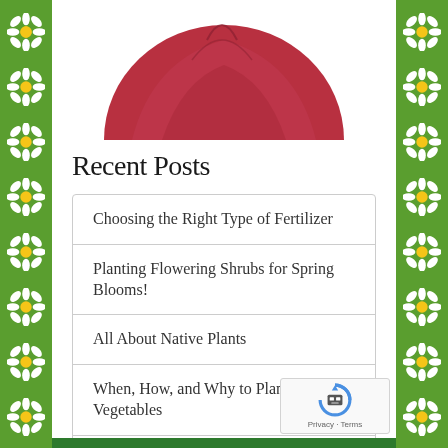[Figure (illustration): Red poppy or rose flower illustration, partially visible at top of page, cropped circle shape]
Recent Posts
Choosing the Right Type of Fertilizer
Planting Flowering Shrubs for Spring Blooms!
All About Native Plants
When, How, and Why to Plant Fall Vegetables
Creating a Succulent Planter
[Figure (logo): reCAPTCHA badge with robot icon, Privacy and Terms links]